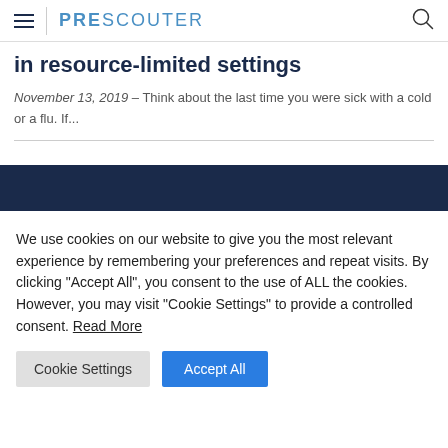PRESCOUTER
in resource-limited settings
November 13, 2019 – Think about the last time you were sick with a cold or a flu. If...
We use cookies on our website to give you the most relevant experience by remembering your preferences and repeat visits. By clicking "Accept All", you consent to the use of ALL the cookies. However, you may visit "Cookie Settings" to provide a controlled consent. Read More